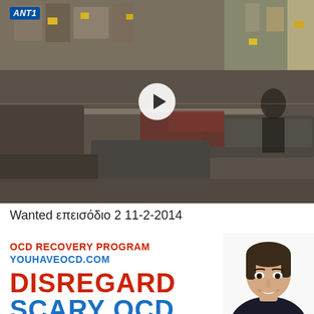[Figure (screenshot): Video thumbnail showing interior of a store/supermarket with furniture/items, ANT1 logo in top-left corner, white circular play button overlay in center]
Wanted επεισόδιο 2 11-2-2014
[Figure (photo): Advertisement banner for OCD Recovery Program at youhaveocd.com with text: OCD RECOVERY PROGRAM, YOUHAVEOCD.COM, DISREGARD, SCARY OCD, and photo of smiling woman]